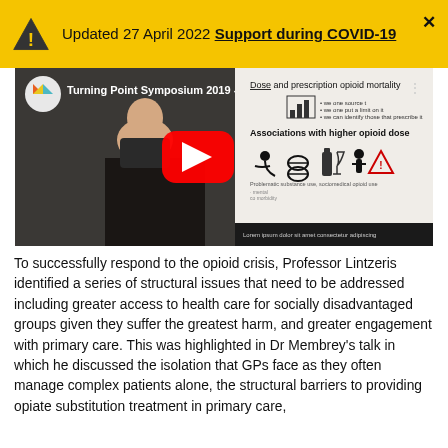Updated 27 April 2022 Support during COVID-19 ✕
[Figure (screenshot): YouTube video thumbnail for Turning Point Symposium 2019, showing a speaker at a podium with a presentation slide about 'Dose and prescription opioid mortality' and 'Associations with higher opioid dose'. A red YouTube play button is overlaid in the center.]
To successfully respond to the opioid crisis, Professor Lintzeris identified a series of structural issues that need to be addressed including greater access to health care for socially disadvantaged groups given they suffer the greatest harm, and greater engagement with primary care. This was highlighted in Dr Membrey's talk in which he discussed the isolation that GPs face as they often manage complex patients alone, the structural barriers to providing opiate substitution treatment in primary care,